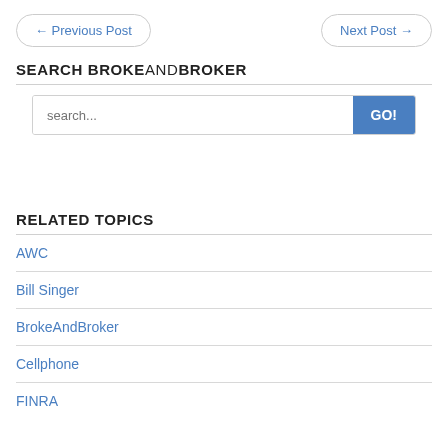← Previous Post    Next Post →
SEARCH BROKEANDBROKER
search...
RELATED TOPICS
AWC
Bill Singer
BrokeAndBroker
Cellphone
FINRA